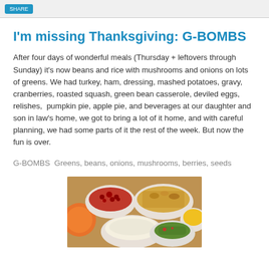I'm missing Thanksgiving: G-BOMBS
After four days of wonderful meals (Thursday + leftovers through Sunday) it's now beans and rice with mushrooms and onions on lots of greens. We had turkey, ham, dressing, mashed potatoes, gravy, cranberries, roasted squash, green bean casserole, deviled eggs, relishes, pumpkin pie, apple pie, and beverages at our daughter and son in law's home, we got to bring a lot of it home, and with careful planning, we had some parts of it the rest of the week. But now the fun is over.
G-BOMBS  Greens, beans, onions, mushrooms, berries, seeds
[Figure (photo): Photo of multiple bowls with Thanksgiving foods including cranberries, stuffing, mashed potatoes, corn, and green beans on a wooden table]